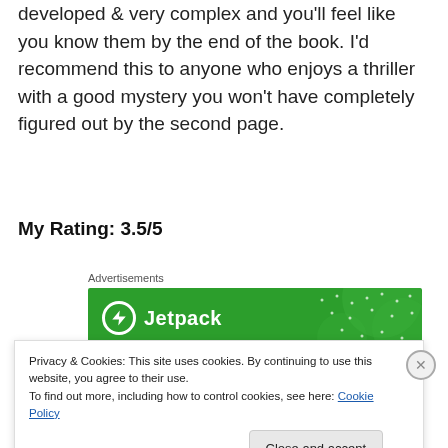developed & very complex and you'll feel like you know them by the end of the book. I'd recommend this to anyone who enjoys a thriller with a good mystery you won't have completely figured out by the second page.
My Rating: 3.5/5
[Figure (other): Jetpack advertisement banner with green background and Jetpack logo]
Privacy & Cookies: This site uses cookies. By continuing to use this website, you agree to their use.
To find out more, including how to control cookies, see here: Cookie Policy
Close and accept